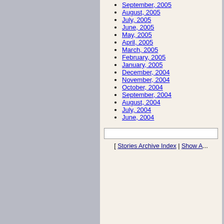September, 2005
August, 2005
July, 2005
June, 2005
May, 2005
April, 2005
March, 2005
February, 2005
January, 2005
December, 2004
November, 2004
October, 2004
September, 2004
August, 2004
July, 2004
June, 2004
[ Stories Archive Index | Show A... ]
Group29 Productions
All logos and trademarks in this site are property of their respective owner. The comments are property of their posters, all the rest © 2006 by Group29 Productions.
You can syndicate Group29 Productions news with an RSS Feeder using the file...
PHP-Nuke Copyright © 2005 by Francisco Burzi. This is free software, and you may redistribute it under the GPL. PHP-Nuke comes with absolutely no warranty, for details, see the license. Page Generation: 0.16 Seconds
:: HeliusGray phpbb2 style by CyberAlien :: PHP-Nuke theme by www.nukemods.com ::